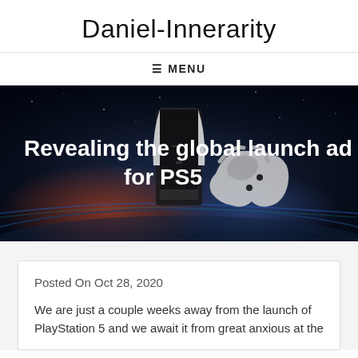Daniel-Innerarity
≡ MENU
[Figure (photo): Hero image with dark space background showing a PS5 console and DualSense controller with text overlay 'Revealing the global launch ad for PS5']
Posted On Oct 28, 2020
We are just a couple weeks away from the launch of PlayStation 5 and we await it from great anxious at the